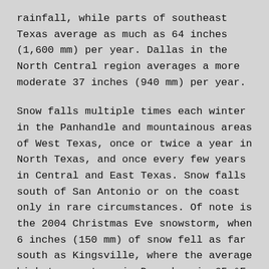rainfall, while parts of southeast Texas average as much as 64 inches (1,600 mm) per year. Dallas in the North Central region averages a more moderate 37 inches (940 mm) per year.
Snow falls multiple times each winter in the Panhandle and mountainous areas of West Texas, once or twice a year in North Texas, and once every few years in Central and East Texas. Snow falls south of San Antonio or on the coast only in rare circumstances. Of note is the 2004 Christmas Eve snowstorm, when 6 inches (150 mm) of snow fell as far south as Kingsville, where the average high temperature in December is 65 °F.
Maximum temperatures in the summer months average from the 80s °F (26 °C) in the mountains of